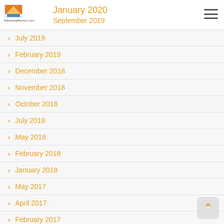January 2020 / September 2019
July 2019
February 2019
December 2018
November 2018
October 2018
July 2018
May 2018
February 2018
January 2018
May 2017
April 2017
February 2017
November 2016
September 2016